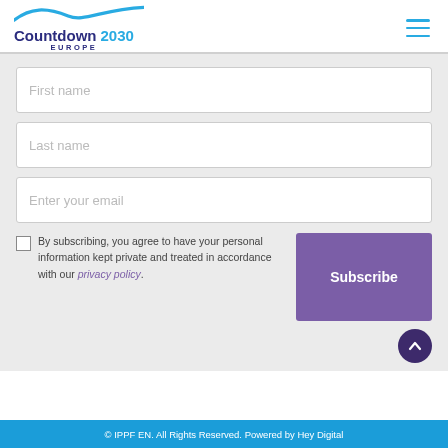Countdown 2030 Europe
[Figure (logo): Countdown 2030 Europe logo with blue wave graphic above text]
First name
Last name
Enter your email
By subscribing, you agree to have your personal information kept private and treated in accordance with our privacy policy.
Subscribe
© IPPF EN. All Rights Reserved. Powered by Hey Digital